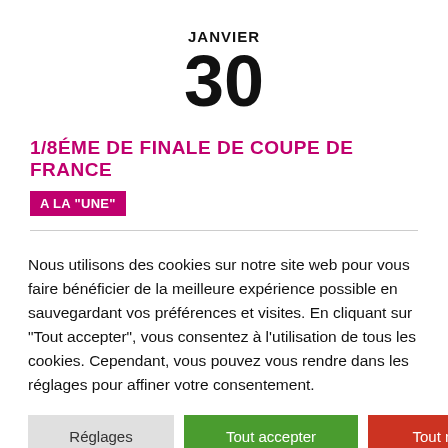JANVIER
30
1/8ÉME DE FINALE DE COUPE DE FRANCE
A LA "UNE"
Nous utilisons des cookies sur notre site web pour vous faire bénéficier de la meilleure expérience possible en sauvegardant vos préférences et visites. En cliquant sur "Tout accepter", vous consentez à l'utilisation de tous les cookies. Cependant, vous pouvez vous rendre dans les réglages pour affiner votre consentement.
Réglages
Tout accepter
Tout rejeter